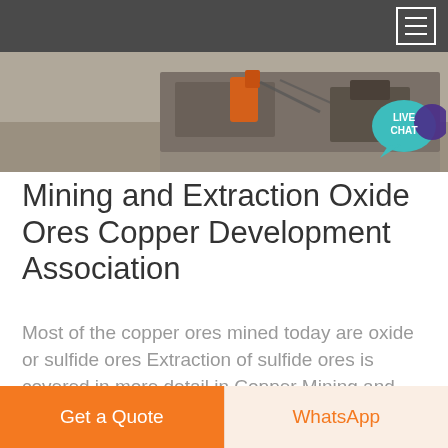[Figure (photo): Website header with dark navigation bar containing hamburger menu icon, and a hero image showing mining/industrial equipment in grey tones]
[Figure (illustration): Live chat speech bubble icon in teal/blue color with text LIVE CHAT]
Mining and Extraction Oxide Ores Copper Development Association
Most of the copper ores mined today are oxide or sulfide ores Extraction of sulfide ores is covered in more detail in Copper Mining and Extraction Sulfide Ores ...
Get a Quote
WhatsApp